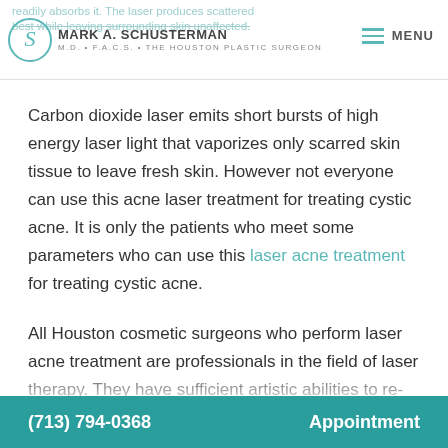readily absorbs it. The laser produces scattered | white leaving surrounding skin unaffected.
Carbon dioxide laser emits short bursts of high energy laser light that vaporizes only scarred skin tissue to leave fresh skin. However not everyone can use this acne laser treatment for treating cystic acne. It is only the patients who meet some parameters who can use this laser acne treatment for treating cystic acne.
All Houston cosmetic surgeons who perform laser acne treatment are professionals in the field of laser therapy. They have sufficient artistic abilities to re-craft the affected acne skin tissue after a
(713) 794-0368    Appointment